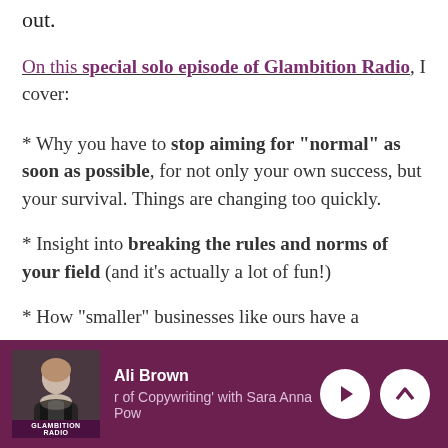out.
On this special solo episode of Glambition Radio, I cover:
* Why you have to stop aiming for “normal” as soon as possible, for not only your own success, but your survival. Things are changing too quickly.
* Insight into breaking the rules and norms of your field (and it’s actually a lot of fun!)
* How “smaller” businesses like ours have a
[Figure (screenshot): Podcast player footer bar showing Ali Brown host, episode title 'r of Copywriting' with Sara Anna Pow, play button and up chevron button on dark purple/maroon background with Glambition Radio thumbnail]